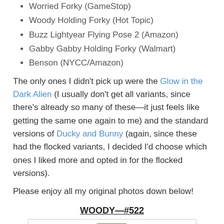Worried Forky (GameStop)
Woody Holding Forky (Hot Topic)
Buzz Lightyear Flying Pose 2 (Amazon)
Gabby Gabby Holding Forky (Walmart)
Benson (NYCC/Amazon)
The only ones I didn't pick up were the Glow in the Dark Alien (I usually don't get all variants, since there's already so many of these—it just feels like getting the same one again to me) and the standard versions of Ducky and Bunny (again, since these had the flocked variants, I decided I'd choose which ones I liked more and opted in for the flocked versions).
Please enjoy all my original photos down below!
WOODY—#522
[Figure (photo): Photo of a Woody Funko Pop figure (#522) showing the character's head with cowboy hat]